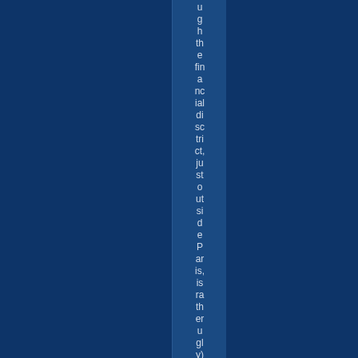ough the financial district, just outside Paris, is rather ugly)